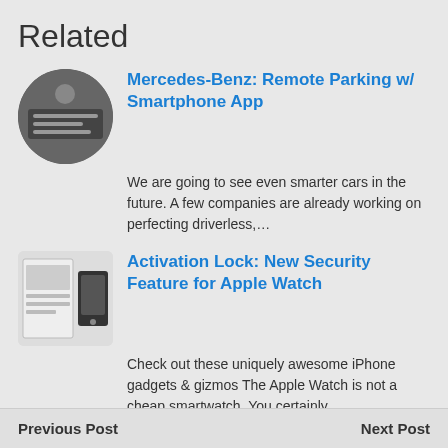Related
Mercedes-Benz: Remote Parking w/ Smartphone App
We are going to see even smarter cars in the future. A few companies are already working on perfecting driverless,…
Activation Lock: New Security Feature for Apple Watch
Check out these uniquely awesome iPhone gadgets & gizmos The Apple Watch is not a cheap smartwatch. You certainly…
REMI: Smart Sleep Companion for Kids
In the past few months, we have covered plenty of sleep monitoring tools for adults. Kids could use a sleep…
Previous Post   Next Post